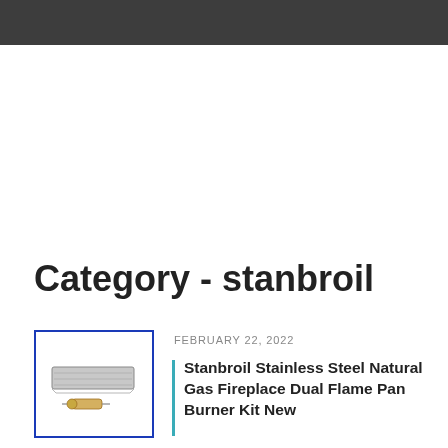Category - stanbroil
FEBRUARY 22, 2022
[Figure (photo): Stanbroil stainless steel fireplace dual flame pan burner kit product photo, showing a rectangular burner tray and a small regulator component, displayed with a blue border]
Stanbroil Stainless Steel Natural Gas Fireplace Dual Flame Pan Burner Kit New